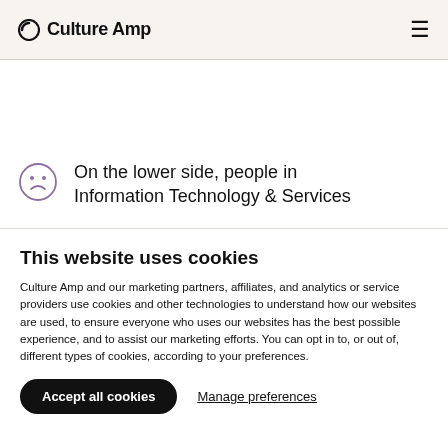Culture Amp
On the lower side, people in Information Technology & Services
This website uses cookies
Culture Amp and our marketing partners, affiliates, and analytics or service providers use cookies and other technologies to understand how our websites are used, to ensure everyone who uses our websites has the best possible experience, and to assist our marketing efforts. You can opt in to, or out of, different types of cookies, according to your preferences.
Accept all cookies
Manage preferences